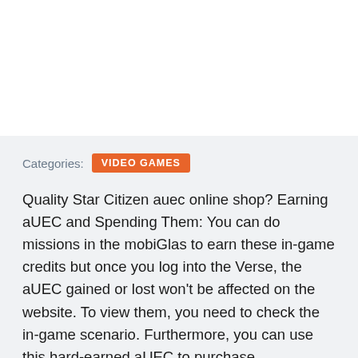Categories:
VIDEO GAMES
Quality Star Citizen auec online shop? Earning aUEC and Spending Them: You can do missions in the mobiGlas to earn these in-game credits but once you log into the Verse, the aUEC gained or lost won't be affected on the website. To view them, you need to check the in-game scenario. Furthermore, you can use this hard-earned aUEC to purchase equipment/items and upgrade or repair the ships. So, having more aUEC will make things much simpler for your journey. Earning aUEC is exceptionally difficult once you figure out that the is in the development phase and new patches can simply change your hard-earned aUEC amount. In this case, our MMOPIXEL Star